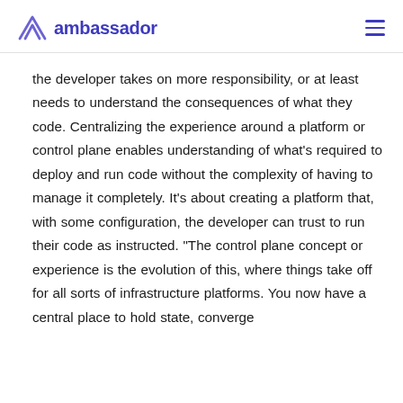ambassador
the developer takes on more responsibility, or at least needs to understand the consequences of what they code. Centralizing the experience around a platform or control plane enables understanding of what's required to deploy and run code without the complexity of having to manage it completely. It's about creating a platform that, with some configuration, the developer can trust to run their code as instructed. "The control plane concept or experience is the evolution of this, where things take off for all sorts of infrastructure platforms. You now have a central place to hold state, converge